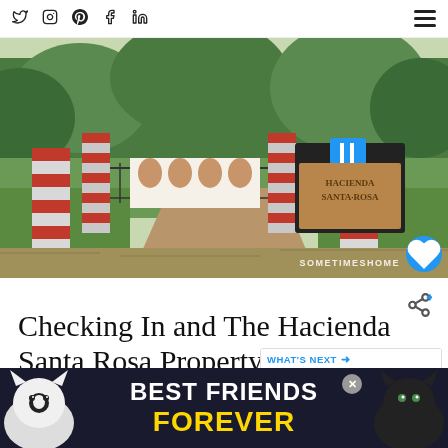Social icons: Twitter, Instagram, Pinterest, Facebook, LinkedIn | Hamburger menu
[Figure (photo): Entrance gate to Hacienda Santa Rosa property with red and white striped pillars, lush green trees, dirt driveway leading to white arched building, and a wooden sign reading HACIENDA SANTA ROSA. Watermark: SOMETIMESHOME]
Checking In and The Hacienda Santa Rosa Property
[Figure (infographic): WHAT'S NEXT panel with thumbnail image of hacienda and text: Hacienda Temozon: B...]
Checking in ... elegantly ... are of
[Figure (photo): Advertisement banner: BEST FRIENDS FOREVER with two cats (black-and-white cat on left, black cat on right) on dark blue background with gold text]